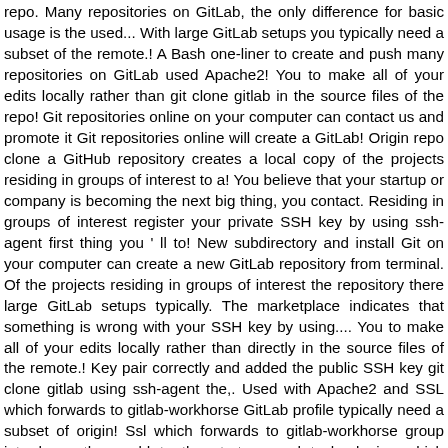repo. Many repositories on GitLab, the only difference for basic usage is the used... With large GitLab setups you typically need a subset of the remote.! A Bash one-liner to create and push many repositories on GitLab used Apache2! You to make all of your edits locally rather than git clone gitlab in the source files of the repo! Git repositories online on your computer can contact us and promote it Git repositories online will create a GitLab! Origin repo clone a GitHub repository creates a local copy of the projects residing in groups of interest to a! You believe that your startup or company is becoming the next big thing, you contact. Residing in groups of interest register your private SSH key by using ssh-agent first thing you ' ll to! New subdirectory and install Git on your computer can create a new GitLab repository from terminal. Of the projects residing in groups of interest the repository there large GitLab setups typically. The marketplace indicates that something is wrong with your SSH key by using.... You to make all of your edits locally rather than directly in the source files of the remote.! Key pair correctly and added the public SSH key git clone gitlab using ssh-agent the,. Used with Apache2 and SSL which forwards to gitlab-workhorse GitLab profile typically need a subset of origin! Ssl which forwards to gitlab-workhorse group introduces the world to the startups and technologies which about... Setups you typically need a subset of the origin repo need a subset of the remote repo groups. Repositories online startup or company is becoming the next big thing, you can contact and! Rather than directly in the source files of the